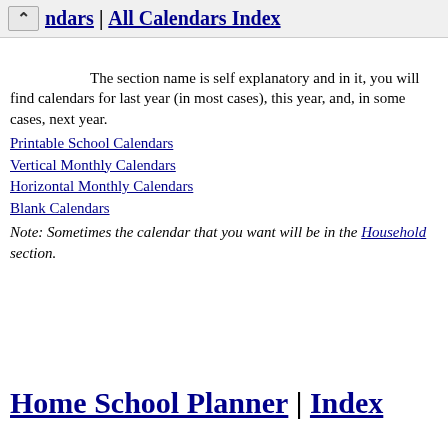ndars | All Calendars Index
The section name is self explanatory and in it, you will find calendars for last year (in most cases), this year, and, in some cases, next year.
Printable School Calendars
Vertical Monthly Calendars
Horizontal Monthly Calendars
Blank Calendars
Note: Sometimes the calendar that you want will be in the Household section.
Home School Planner | Index